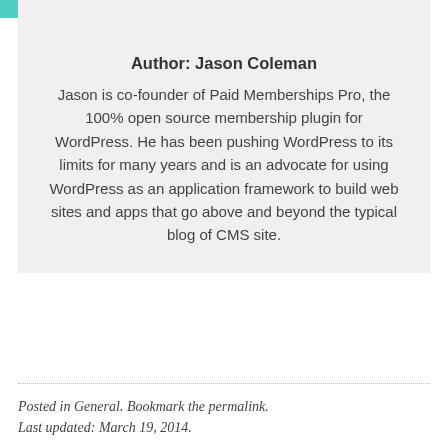[Figure (photo): Circular avatar photo of Jason Coleman, a person in a suit, with a teal/green bar visible at top left]
Author: Jason Coleman
Jason is co-founder of Paid Memberships Pro, the 100% open source membership plugin for WordPress. He has been pushing WordPress to its limits for many years and is an advocate for using WordPress as an application framework to build web sites and apps that go above and beyond the typical blog of CMS site.
Posted in General. Bookmark the permalink. Last updated: March 19, 2014.